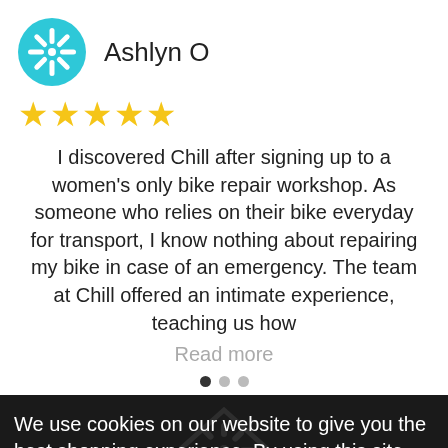[Figure (logo): Circular teal/cyan logo with snowflake-like symbol for 'Chill' brand]
Ashlyn O
★★★★★
I discovered Chill after signing up to a women's only bike repair workshop. As someone who relies on their bike everyday for transport, I know nothing about repairing my bike in case of an emergency. The team at Chill offered an intimate experience, teaching us how
Read more
We use cookies on our website to give you the best shopping experience. By using this site, you agree to its use of cookies.
I agree
Chat with us